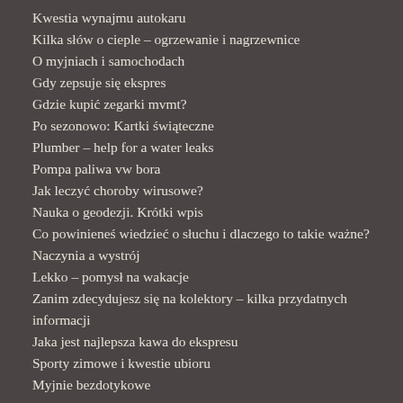Kwestia wynajmu autokaru
Kilka słów o cieple – ogrzewanie i nagrzewnice
O myjniach i samochodach
Gdy zepsuje się ekspres
Gdzie kupić zegarki mvmt?
Po sezonowo: Kartki świąteczne
Plumber – help for a water leaks
Pompa paliwa vw bora
Jak leczyć choroby wirusowe?
Nauka o geodezji. Krótki wpis
Co powinieneś wiedzieć o słuchu i dlaczego to takie ważne?
Naczynia a wystrój
Lekko – pomysł na wakacje
Zanim zdecydujesz się na kolektory – kilka przydatnych informacji
Jaka jest najlepsza kawa do ekspresu
Sporty zimowe i kwestie ubioru
Myjnie bezdotykowe